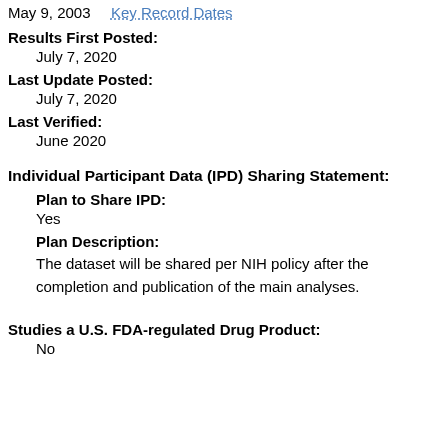May 9, 2003   Key Record Dates
Results First Posted:
July 7, 2020
Last Update Posted:
July 7, 2020
Last Verified:
June 2020
Individual Participant Data (IPD) Sharing Statement:
Plan to Share IPD:
Yes
Plan Description:
The dataset will be shared per NIH policy after the completion and publication of the main analyses.
Studies a U.S. FDA-regulated Drug Product:
No